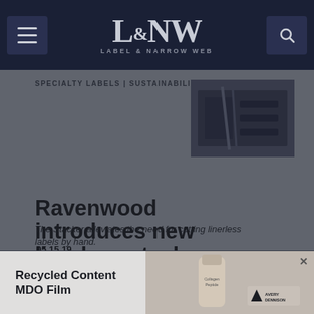L&NW — LABEL & NARROW WEB
SPECIALTY LABELS | SUSTAINABILITY
[Figure (photo): Close-up photo of Ravenwood linerless stacker machine components]
Ravenwood introduces new linerless stacker
The Stacker alleviates the need for cutting linerless labels by hand.
05.15.19
[Figure (photo): Advertisement: Recycled Content MDO Film by Avery Dennison, showing Collagen Peptide product bottle]